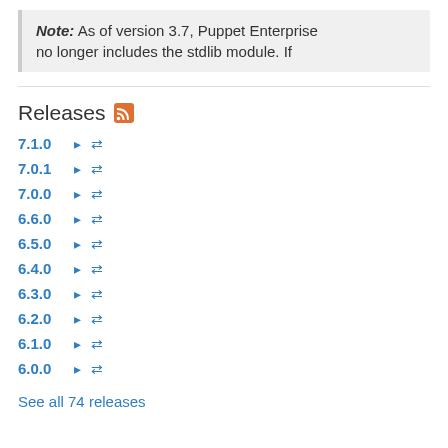Note: As of version 3.7, Puppet Enterprise no longer includes the stdlib module. If
Releases
7.1.0
7.0.1
7.0.0
6.6.0
6.5.0
6.4.0
6.3.0
6.2.0
6.1.0
6.0.0
See all 74 releases